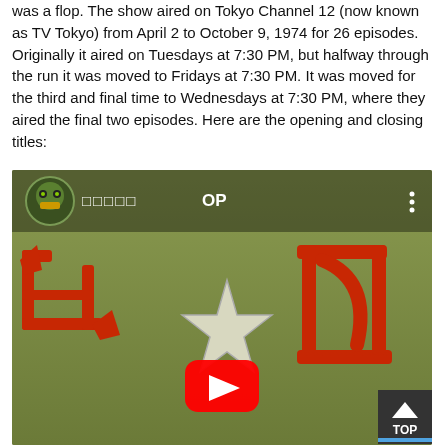was a flop. The show aired on Tokyo Channel 12 (now known as TV Tokyo) from April 2 to October 9, 1974 for 26 episodes. Originally it aired on Tuesdays at 7:30 PM, but halfway through the run it was moved to Fridays at 7:30 PM. It was moved for the third and final time to Wednesdays at 7:30 PM, where they aired the final two episodes. Here are the opening and closing titles:
[Figure (screenshot): YouTube video thumbnail showing a green-background anime title screen with large red Japanese kanji characters and a white star. A YouTube play button is visible in the center. The video is titled with Japanese characters followed by 'OP'. A channel avatar (green cartoon character) is shown in the top-left corner.]